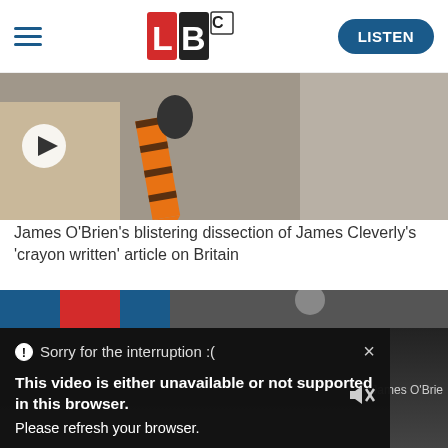[Figure (screenshot): LBC website header with hamburger menu, LBC logo, and LISTEN button]
[Figure (photo): Video thumbnail showing a large orange crayon and a person in a suit, with a play button overlay]
James O'Brien's blistering dissection of James Cleverly's 'crayon written' article on Britain
[Figure (screenshot): Partial second article image strip with colorful bar and person visible]
Sorry for the interruption :(
This video is either unavailable or not supported in this browser. Please refresh your browser.
Error Code: MEDIA ERR SRC NOT SUPPORTED